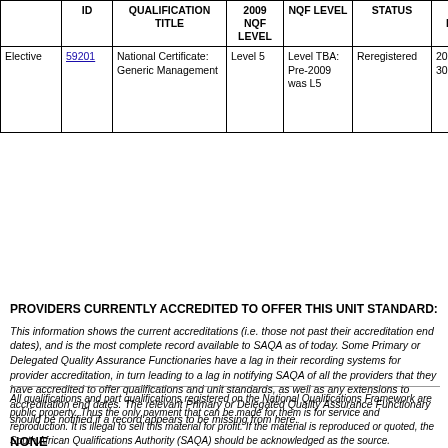|  | ID | QUALIFICATION TITLE | 2009 NQF LEVEL | NQF LEVEL | STATUS | END DATE | DELEGATED QA FUNCTIONS |
| --- | --- | --- | --- | --- | --- | --- | --- |
| Elective | 59201 | National Certificate: Generic Management | Level 5 | Level TBA: Pre-2009 was L5 | Reregistered | 2023-06-30 | As per Learning Programmes recorded against this Qual |
PROVIDERS CURRENTLY ACCREDITED TO OFFER THIS UNIT STANDARD:
This information shows the current accreditations (i.e. those not past their accreditation end dates), and is the most complete record available to SAQA as of today. Some Primary or Delegated Quality Assurance Functionaries have a lag in their recording systems for provider accreditation, in turn leading to a lag in notifying SAQA of all the providers that they have accredited to offer qualifications and unit standards, as well as any extensions to accreditation end dates. The relevant Primary or Delegated Quality Assurance Functionary should be notified if a record appears to be missing from here.
NONE
All qualifications and part qualifications registered on the National Qualifications Framework are public property. Thus the only payment that can be made for them is for service and reproduction. It is illegal to sell this material for profit. If the material is reproduced or quoted, the South African Qualifications Authority (SAQA) should be acknowledged as the source.